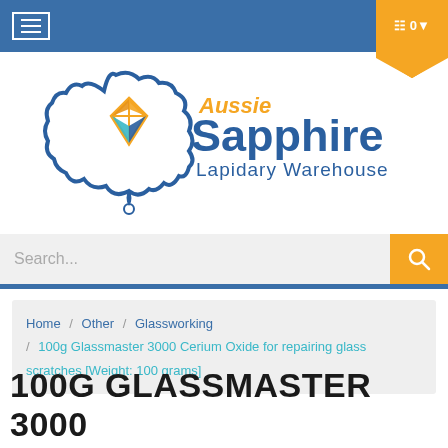≡   🛒 0 ▾
[Figure (logo): Aussie Sapphire Lapidary Warehouse logo — stylized Australia map outline in blue/teal with orange/yellow gem facet motif inside, text 'Aussie Sapphire Lapidary Warehouse']
Search...
Home / Other / Glassworking / 100g Glassmaster 3000 Cerium Oxide for repairing glass scratches [Weight: 100 grams]
100G GLASSMASTER 3000